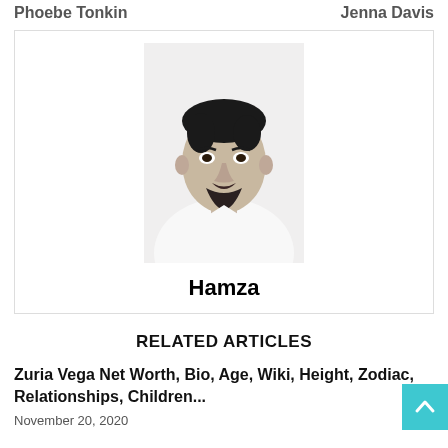Phoebe Tonkin    Jenna Davis
[Figure (photo): Black and white portrait photo of Hamza, a young man with short dark hair and a beard, wearing a white shirt]
Hamza
RELATED ARTICLES
Zuria Vega Net Worth, Bio, Age, Wiki, Height, Zodiac, Relationships, Children...
November 20, 2020